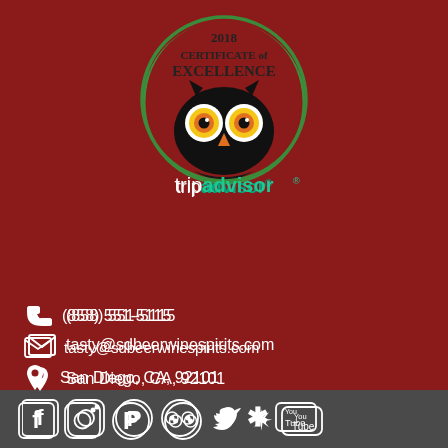[Figure (logo): TripAdvisor 2018 Certificate of Excellence badge with owl logo and green circle border]
(858) 551-5115
tasty@sdbeerwinespirits.com
San Diego, CA, 92101
[Figure (infographic): Social media icons row: Facebook, Instagram, Pinterest, TripAdvisor, Twitter, Yelp, YouTube]
Gift Certificates
Powered by FareHarbor  Privacy & Cookie Statement